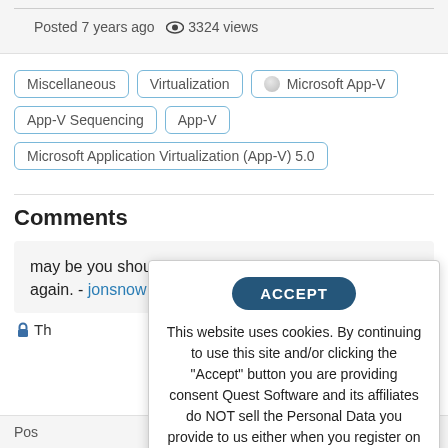Posted 7 years ago  👁 3324 views
Miscellaneous
Virtualization
Microsoft App-V
App-V Sequencing
App-V
Microsoft Application Virtualization (App-V) 5.0
Comments
may be you should restart your system and try it again. - jonsnow 5 years ago
Th...
Pos...
ACCEPT
This website uses cookies. By continuing to use this site and/or clicking the "Accept" button you are providing consent Quest Software and its affiliates do NOT sell the Personal Data you provide to us either when you register on our websites or